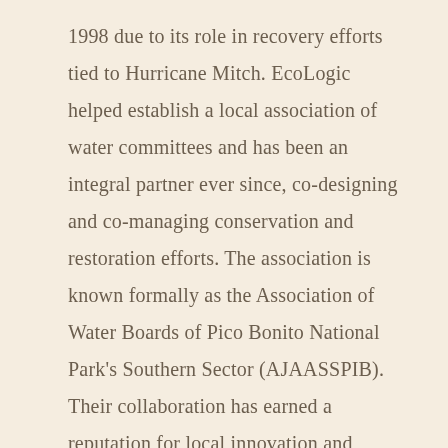1998 due to its role in recovery efforts tied to Hurricane Mitch. EcoLogic helped establish a local association of water committees and has been an integral partner ever since, co-designing and co-managing conservation and restoration efforts. The association is known formally as the Association of Water Boards of Pico Bonito National Park's Southern Sector (AJAASSPIB). Their collaboration has earned a reputation for local innovation and persistence based on a track record of helping communities secure their own water sources and manage microwatersheds. Microwatersheds typically include the land and vegetation that shades and protects streams and drinking water sources